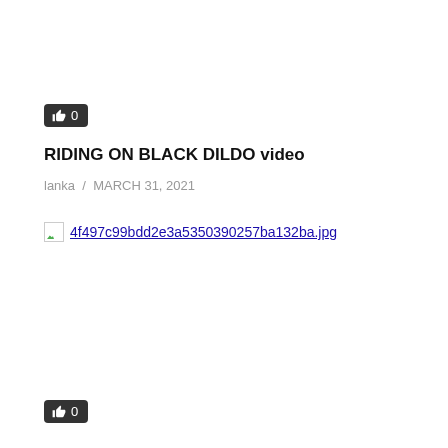[Figure (other): Like button with thumbs up icon and count 0, dark background]
RIDING ON BLACK DILDO video
lanka / MARCH 31, 2021
[Figure (other): Broken image placeholder with filename 4f497c99bdd2e3a5350390257ba132ba.jpg]
[Figure (other): Like button with thumbs up icon and count 0, dark background]